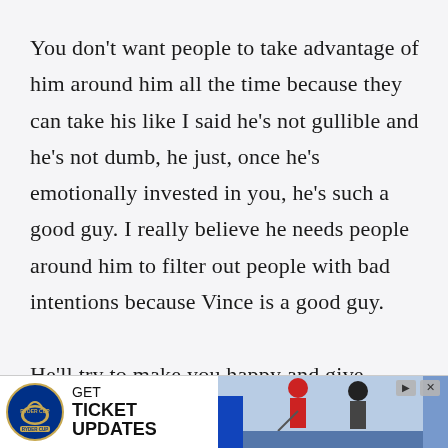You don't want people to take advantage of him around him all the time because they can take his like I said he's not gullible and he's not dumb, he just, once he's emotionally invested in you, he's such a good guy. I really believe he needs people around him to filter out people with bad intentions because Vince is a good guy.

He'll try to make you happy and give
[Figure (infographic): Advertisement banner for Ryder Cup ticket updates. Shows Ryder Cup logo on left, text 'GET TICKET UPDATES' in center, and photo of golfers on right with close/skip ad controls.]